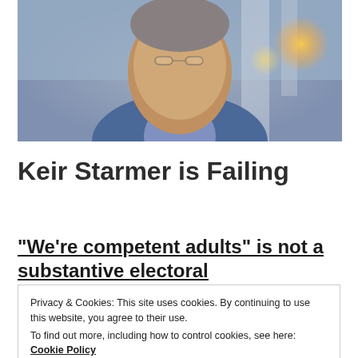[Figure (photo): Photo of a man in a blue suit jacket, with a serious expression, photographed outdoors with blurred background showing bokeh lights and architectural elements]
Keir Starmer is Failing
“We’re competent adults” is not a substantive electoral
Privacy & Cookies: This site uses cookies. By continuing to use this website, you agree to their use.
To find out more, including how to control cookies, see here: Cookie Policy
Close and accept
real solution to it, then they’ll just learn to live